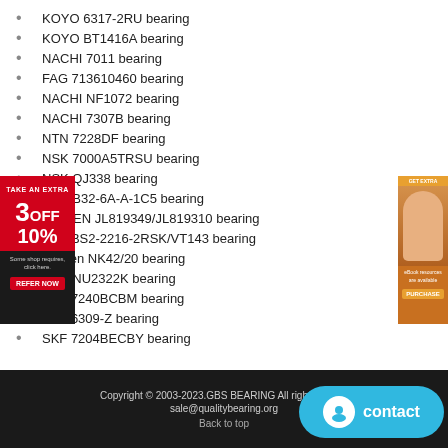KOYO 6317-2RU bearing
KOYO BT1416A bearing
NACHI 7011 bearing
FAG 713610460 bearing
NACHI NF1072 bearing
NACHI 7307B bearing
NTN 7228DF bearing
NSK 7000A5TRSU bearing
NSK QJ338 bearing
NSK B32-6A-A-1C5 bearing
TIMKEN JL819349/JL819310 bearing
SKF BS2-2216-2RSK/VT143 bearing
Timken NK42/20 bearing
NTN NU2322K bearing
SKF 7240BCBM bearing
SKF 6309-Z bearing
SKF 7204BECBY bearing
Copyright © 2003-2023.GBS BEARING All rights reserved   sale@qualitybearing.org   Back to top